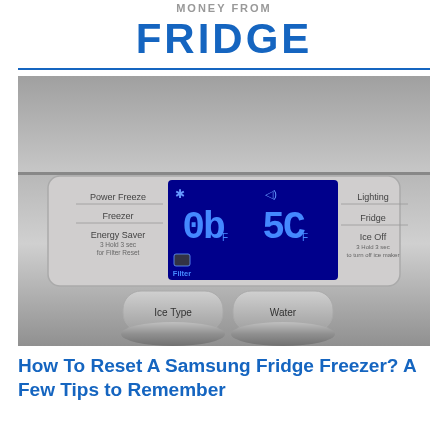MONEY FROM
FRIDGE
[Figure (photo): Close-up photo of a Samsung refrigerator control panel showing a digital display with temperature readings in Fahrenheit, buttons labeled Power Freeze, Freezer, Energy Saver/Filter, Lighting, Fridge, Ice Off, and dispensers labeled Ice Type and Water.]
How To Reset A Samsung Fridge Freezer? A Few Tips to Remember